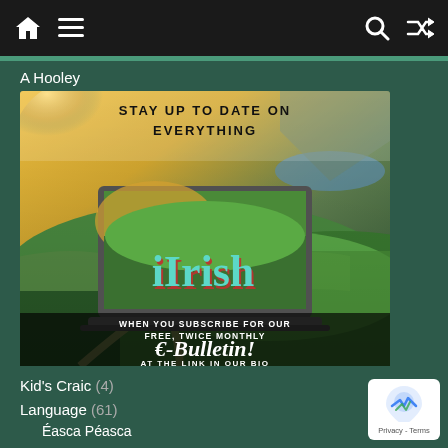Navigation bar with home, menu, search, shuffle icons
A Hooley
[Figure (illustration): iIrish e-bulletin advertisement. Shows a laptop with Irish countryside landscape on screen and the text 'iIrish'. Text reads: STAY UP TO DATE ON EVERYTHING / when you subscribe for our free, twice monthly / E-Bulletin! / AT THE LINK IN OUR BIO]
Kid's Craic (4)
Language (61)
Éasca Péasca